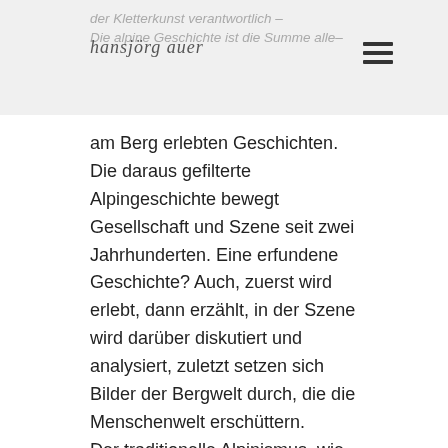der Kletterkunst verantwortlich – Die alpine Geschichte ist die Summe alle–
[Figure (logo): Hansjörg Auer handwritten logo / signature in stylized text]
am Berg erlebten Geschichten. Die daraus gefilterte Alpingeschichte bewegt Gesellschaft und Szene seit zwei Jahrhunderten. Eine erfundene Geschichte? Auch, zuerst wird erlebt, dann erzählt, in der Szene wird darüber diskutiert und analysiert, zuletzt setzen sich Bilder der Bergwelt durch, die die Menschenwelt erschüttern. Der traditionelle Alpinismus, wie ihn uns Hansjörg Auer vorlebt, ist heute von den berühmten Bergen weggerückt in jene Wildnisareale, in denen Pistenbergsteiger und Speedkletterer nicht anzutreffen sind. Er ist mit seinen Partnern immer dort unterwegs, wo die vielen anderen nicht hingehen. Eigenverantwortung und